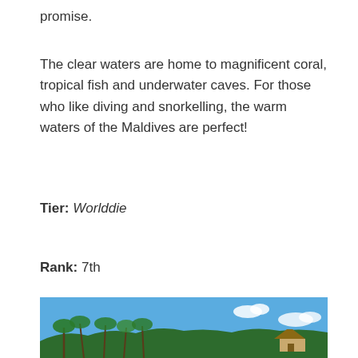promise.
The clear waters are home to magnificent coral, tropical fish and underwater caves. For those who like diving and snorkelling, the warm waters of the Maldives are perfect!
Tier: Worlddie
Rank: 7th
[Figure (photo): Tropical beach scene with palm trees against a blue sky with white clouds, and a thatched-roof structure visible on the right side]